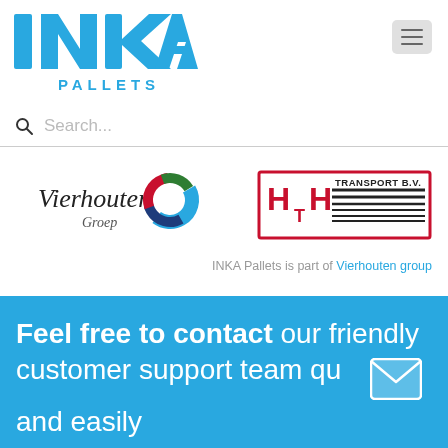[Figure (logo): INKA PALLETS logo in blue with large bold INKA text and PALLETS below]
[Figure (other): Hamburger menu icon in gray rounded box]
Search...
[Figure (logo): Vierhouten Groep logo with swirl graphic]
[Figure (logo): HTH Transport B.V. logo in red and black with horizontal stripes]
INKA Pallets is part of Vierhouten group
Feel free to contact our friendly customer support team qu and easily